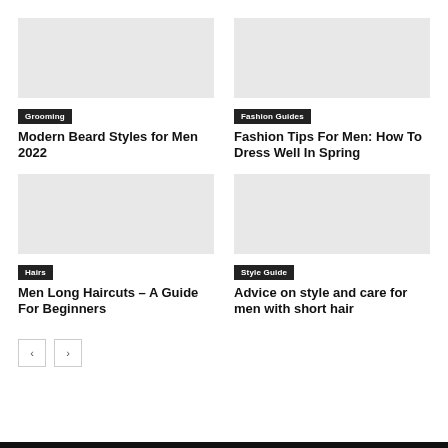[Figure (photo): Image placeholder for Modern Beard Styles for Men 2022]
Grooming
Modern Beard Styles for Men 2022
[Figure (photo): Image placeholder for Fashion Tips For Men: How To Dress Well In Spring]
Fashion Guides
Fashion Tips For Men: How To Dress Well In Spring
[Figure (photo): Image placeholder for Men Long Haircuts – A Guide For Beginners]
Hairs
Men Long Haircuts – A Guide For Beginners
[Figure (photo): Image placeholder for Advice on style and care for men with short hair]
Style Guide
Advice on style and care for men with short hair